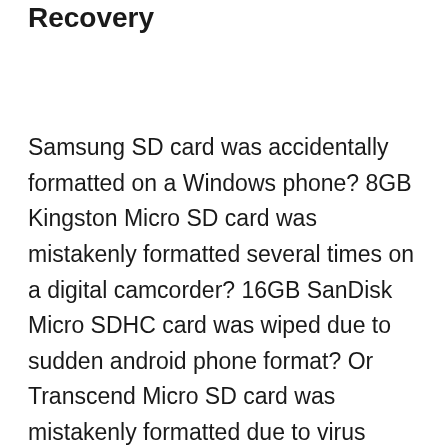Micro SD Memory Card Format Recovery
Samsung SD card was accidentally formatted on a Windows phone? 8GB Kingston Micro SD card was mistakenly formatted several times on a digital camcorder? 16GB SanDisk Micro SDHC card was wiped due to sudden android phone format? Or Transcend Micro SD card was mistakenly formatted due to virus attack? No matter which brand SD memory card you are using on your android or Windows phones or the like devices. Micro